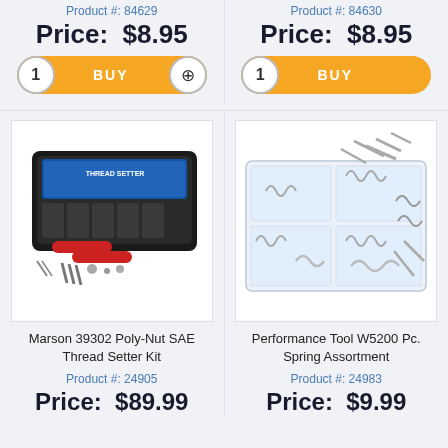Product #: 84629
Price: $8.95
1  BUY
Product #: 84630
Price: $8.95
1  BUY
[Figure (photo): Marson 39302 Poly-Nut SAE Thread Setter Kit in black plastic case with red-handled tool and various hardware pieces]
Marson 39302 Poly-Nut SAE Thread Setter Kit
Product #: 24905
Price: $89.99
[Figure (photo): Performance Tool W5200 Pc. Spring Assortment in clear plastic organizer tray with various metal springs]
Performance Tool W5200 Pc. Spring Assortment
Product #: 24983
Price: $9.99